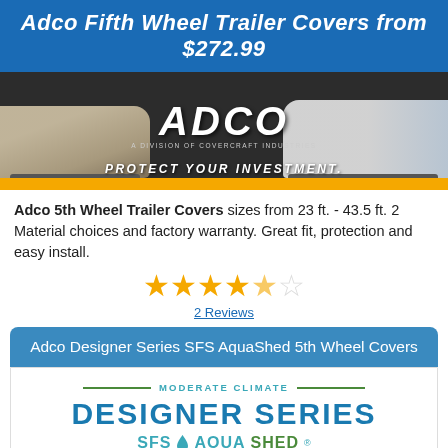Adco Fifth Wheel Trailer Covers from $272.99
[Figure (photo): ADCO brand banner showing two RVs (travel trailer on left, motorhome on right) with ADCO logo and tagline 'PROTECT YOUR INVESTMENT.']
Adco 5th Wheel Trailer Covers sizes from 23 ft. - 43.5 ft. 2 Material choices and factory warranty. Great fit, protection and easy install.
[Figure (other): 4.5 out of 5 star rating shown as star icons]
2 Reviews
Adco Designer Series SFS AquaShed 5th Wheel Covers
[Figure (logo): MODERATE CLIMATE / DESIGNER SERIES / SFS AquaShed logo graphic with green lines and teal/green text]